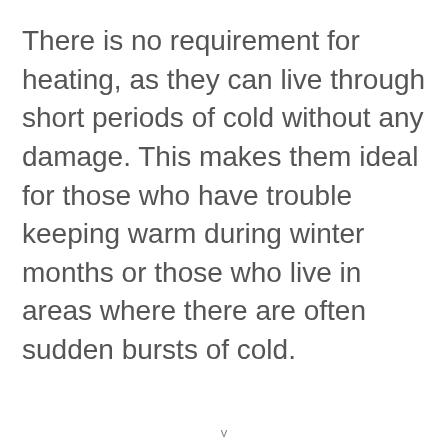There is no requirement for heating, as they can live through short periods of cold without any damage. This makes them ideal for those who have trouble keeping warm during winter months or those who live in areas where there are often sudden bursts of cold.
v